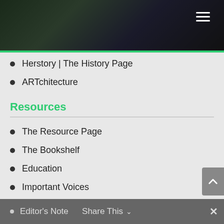[Figure (photo): Dark cityscape/skyline at night used as header background image]
Herstory | The History Page
ARTchitecture
Resources
The Resource Page
The Bookshelf
Education
Important Voices
Our Affiliates | News
Real Estate Facts
Humor | Wisdom
Editor's Note
Share This